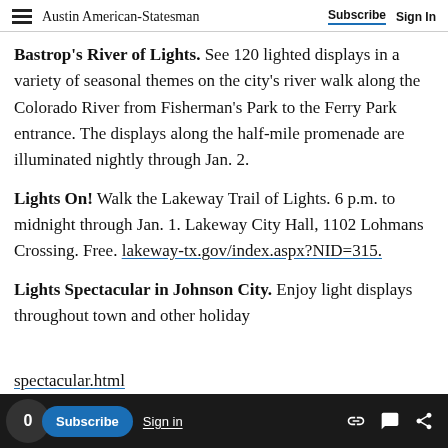Austin American-Statesman | Subscribe  Sign In
Bastrop's River of Lights. See 120 lighted displays in a variety of seasonal themes on the city's river walk along the Colorado River from Fisherman's Park to the Ferry Park entrance. The displays along the half-mile promenade are illuminated nightly through Jan. 2.
Lights On! Walk the Lakeway Trail of Lights. 6 p.m. to midnight through Jan. 1. Lakeway City Hall, 1102 Lohmans Crossing. Free. lakewaytx.gov/index.aspx?NID=315.
Lights Spectacular in Johnson City. Enjoy light displays throughout town and other holiday
spectacular.html